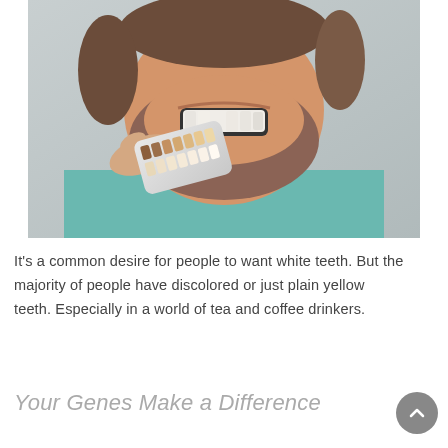[Figure (photo): Close-up photo of a man smiling while a hand holds a dental tooth shade guide next to his teeth for color comparison. The man is wearing a teal/mint green shirt and has a beard. The shade guide is white with multiple tooth-colored samples.]
It's a common desire for people to want white teeth. But the majority of people have discolored or just plain yellow teeth. Especially in a world of tea and coffee drinkers.
Your Genes Make a Difference